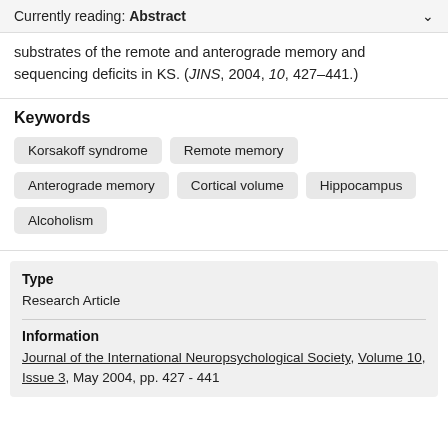Currently reading: Abstract
substrates of the remote and anterograde memory and sequencing deficits in KS. (JINS, 2004, 10, 427–441.)
Keywords
Korsakoff syndrome
Remote memory
Anterograde memory
Cortical volume
Hippocampus
Alcoholism
Type
Research Article
Information
Journal of the International Neuropsychological Society, Volume 10, Issue 3, May 2004, pp. 427 - 441